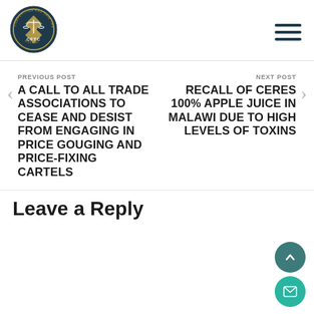[Figure (logo): CFTC Malawi Competition and Fair Trading Commission circular logo with scales of justice]
PREVIOUS POST
A CALL TO ALL TRADE ASSOCIATIONS TO CEASE AND DESIST FROM ENGAGING IN PRICE GOUGING AND PRICE-FIXING CARTELS
NEXT POST
RECALL OF CERES 100% APPLE JUICE IN MALAWI DUE TO HIGH LEVELS OF TOXINS
Leave a Reply